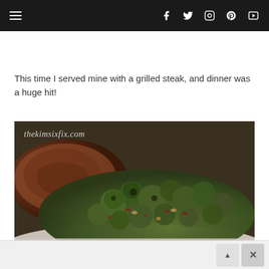Navigation bar with hamburger menu and social icons: Facebook, Twitter, Instagram, Pinterest, YouTube
This time I served mine with a grilled steak, and dinner was a huge hit!
[Figure (photo): Close-up photo of roasted Brussels sprouts with bacon and nuts on a plate, next to a grilled steak. Watermark: thekimsixfix.com]
Advertisement bar with close (X) button